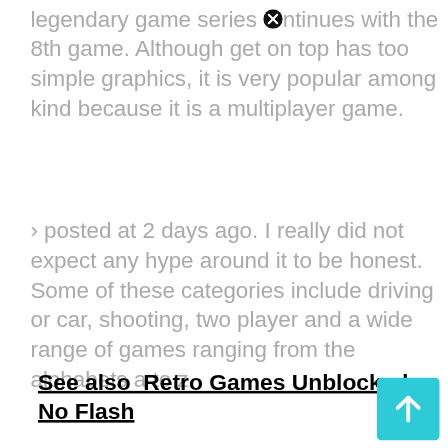legendary game series ⊗ntinues with the 8th game. Although get on top has too simple graphics, it is very popular among kind because it is a multiplayer game.
› posted at 2 days ago. I really did not expect any hype around it to be honest. Some of these categories include driving or car, shooting, two player and a wide range of games ranging from the alphabets a to z.
See also  Retro Games Unblocked No Flash
You can choose cool, crazy and exciting unblocked games of different genres! One of these characters will be managed by you and the other one will be managed by your friend